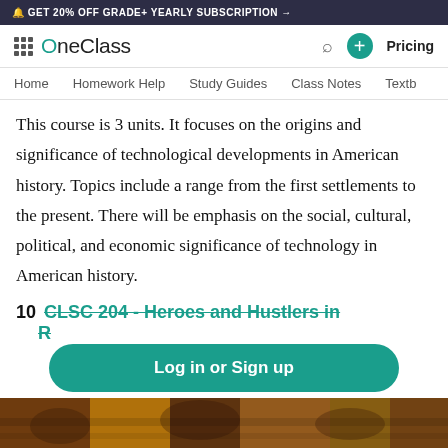🔔 GET 20% OFF GRADE+ YEARLY SUBSCRIPTION →
OneClass — Home | Homework Help | Study Guides | Class Notes | Textb... | Pricing
Home  Homework Help  Study Guides  Class Notes  Textb...
This course is 3 units. It focuses on the origins and significance of technological developments in American history. Topics include a range from the first settlements to the present. There will be emphasis on the social, cultural, political, and economic significance of technology in American history.
10  CLSC 204 - Heroes and Hustlers in R...
[Figure (photo): Bottom strip showing a historical painting or illustration with earth tones — browns, oranges, depicting figures on horseback or in a scene.]